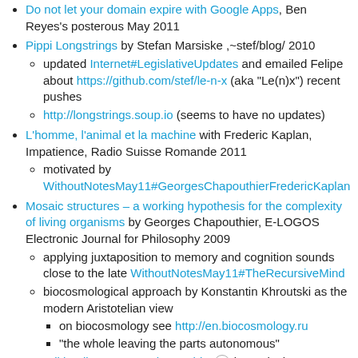Do not let your domain expire with Google Apps, Ben Reyes's posterous May 2011
Pippi Longstrings by Stefan Marsiske ,~stef/blog/ 2010
updated Internet#LegislativeUpdates and emailed Felipe about https://github.com/stef/le-n-x (aka "Le(n)x") recent pushes
http://longstrings.soup.io (seems to have no updates)
L'homme, l'animal et la machine with Frederic Kaplan, Impatience, Radio Suisse Romande 2011
motivated by WithoutNotesMay11#GeorgesChapouthierFredericKaplan
Mosaic structures – a working hypothesis for the complexity of living organisms by Georges Chapouthier, E-LOGOS Electronic Journal for Philosophy 2009
applying juxtaposition to memory and cognition sounds close to the late WithoutNotesMay11#TheRecursiveMind
biocosmological approach by Konstantin Khroutski as the modern Aristotelian view
on biocosmology see http://en.biocosmology.ru
"the whole leaving the parts autonomous"
Wikipedia:Georges Chapouthier in particular
"complexite en mosaique"